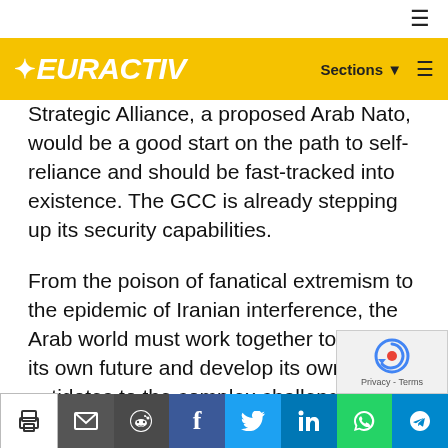[Figure (logo): EURACTIV logo on yellow banner with Sections and hamburger menu]
Strategic Alliance, a proposed Arab Nato, would be a good start on the path to self-reliance and should be fast-tracked into existence. The GCC is already stepping up its security capabilities.
From the poison of fanatical extremism to the epidemic of Iranian interference, the Arab world must work together to define its own future and develop its own antidotes to the complex challenges of the 21st century. It won't be easy, it won't be cheap and it will demand tough choices. But it is the mute testimony of the half a million dead since 2001 that, whatever the cost, it will surely be a price well worth paying.
[Figure (infographic): Social share bar with print, email, Reddit, Facebook, Twitter, LinkedIn, WhatsApp, Telegram buttons]